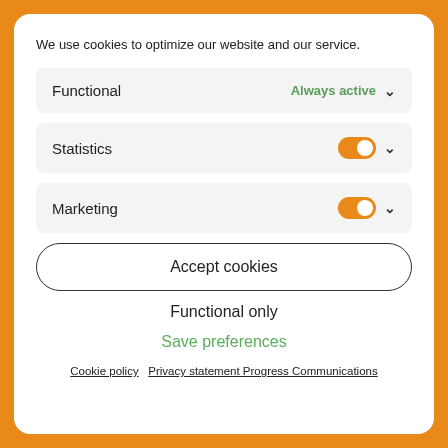We use cookies to optimize our website and our service.
Functional — Always active
Statistics — toggle on
Marketing — toggle on
Accept cookies
Functional only
Save preferences
Cookie policy   Privacy statement Progress Communications